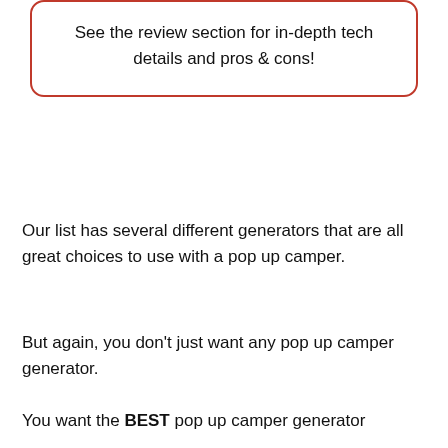See the review section for in-depth tech details and pros & cons!
Our list has several different generators that are all great choices to use with a pop up camper.
But again, you don't just want any pop up camper generator.
You want the BEST pop up camper generator